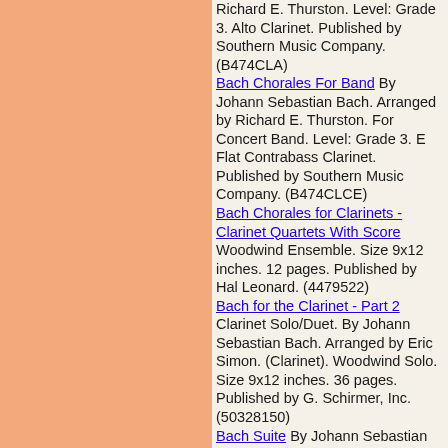Richard E. Thurston. Level: Grade 3. Alto Clarinet. Published by Southern Music Company. (B474CLA)
Bach Chorales For Band By Johann Sebastian Bach. Arranged by Richard E. Thurston. For Concert Band. Level: Grade 3. E Flat Contrabass Clarinet. Published by Southern Music Company. (B474CLCE)
Bach Chorales for Clarinets - Clarinet Quartets With Score Woodwind Ensemble. Size 9x12 inches. 12 pages. Published by Hal Leonard. (4479522)
Bach for the Clarinet - Part 2 Clarinet Solo/Duet. By Johann Sebastian Bach. Arranged by Eric Simon. (Clarinet). Woodwind Solo. Size 9x12 inches. 36 pages. Published by G. Schirmer, Inc. (50328150)
Bach Suite By Johann Sebastian Bach. Arranged by Paul Yoder. For Clarinet choir. Approved contest/festival piece for the University Interscholastic League. Level: Grade 3. Published by Southern Music Company. (ST278CO)
Bach Suite By Johann Sebastian Bach. Arranged by Paul Yoder. For...